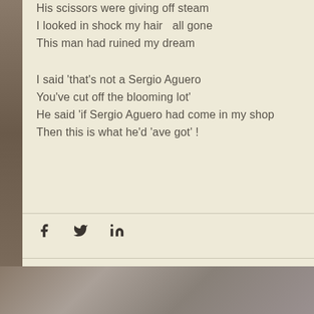His scissors were giving off steam
I looked in shock my hair  all gone
This man had ruined my dream

I said 'that's not a Sergio Aguero
You've cut off the blooming lot'
He said 'if Sergio Aguero had come in my shop
Then this is what he'd 'ave got' !
[Figure (other): Social media share icons: Facebook (f), Twitter (bird), LinkedIn (in)]